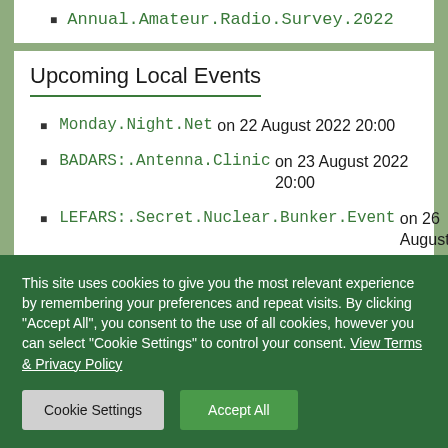Annual Amateur Radio Survey 2022
Upcoming Local Events
Monday Night Net on 22 August 2022 20:00
BADARS: Antenna Clinic on 23 August 2022 20:00
LEFARS: Secret Nuclear Bunker Event on 26 August 2022 10:00
TAARC: West Thurrock Family Funday
This site uses cookies to give you the most relevant experience by remembering your preferences and repeat visits. By clicking "Accept All", you consent to the use of all cookies, however you can select "Cookie Settings" to control your consent. View Terms & Privacy Policy